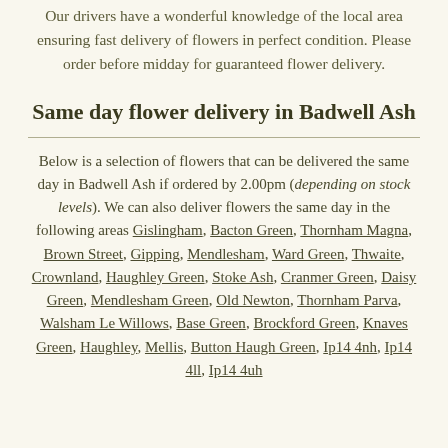Our drivers have a wonderful knowledge of the local area ensuring fast delivery of flowers in perfect condition. Please order before midday for guaranteed flower delivery.
Same day flower delivery in Badwell Ash
Below is a selection of flowers that can be delivered the same day in Badwell Ash if ordered by 2.00pm (depending on stock levels). We can also deliver flowers the same day in the following areas Gislingham, Bacton Green, Thornham Magna, Brown Street, Gipping, Mendlesham, Ward Green, Thwaite, Crownland, Haughley Green, Stoke Ash, Cranmer Green, Daisy Green, Mendlesham Green, Old Newton, Thornham Parva, Walsham Le Willows, Base Green, Brockford Green, Knaves Green, Haughley, Mellis, Button Haugh Green, Ip14 4nh, Ip14 4ll, Ip14 4uh